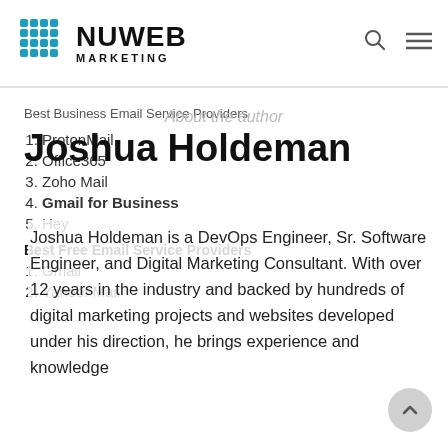NUWEB MARKETING
Best Business Email Service Providers
1. ProtonMail
2. Office365
3. Zoho Mail
4. Gmail for Business
5. Hey
Best Free Email Service Providers
1. Gmail
2. Yahoo! Mail
About the author
Joshua Holdeman
Joshua Holdeman is a DevOps Engineer, Sr. Software Engineer, and Digital Marketing Consultant. With over 12 years in the industry and backed by hundreds of digital marketing projects and websites developed under his direction, he brings experience and knowledge